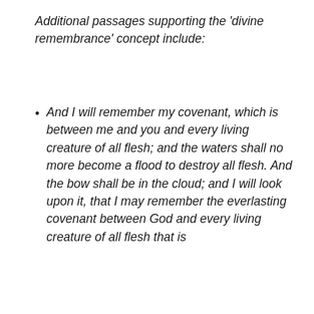Additional passages supporting the 'divine remembrance' concept include:
And I will remember my covenant, which is between me and you and every living creature of all flesh; and the waters shall no more become a flood to destroy all flesh. And the bow shall be in the cloud; and I will look upon it, that I may remember the everlasting covenant between God and every living creature of all flesh that is